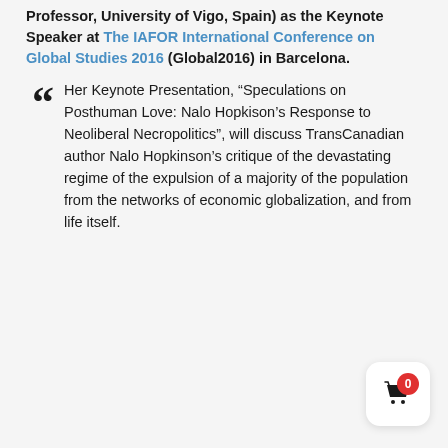Professor, University of Vigo, Spain) as the Keynote Speaker at The IAFOR International Conference on Global Studies 2016 (Global2016) in Barcelona.
Her Keynote Presentation, “Speculations on Posthuman Love: Nalo Hopkison’s Response to Neoliberal Necropolitics”, will discuss TransCanadian author Nalo Hopkinson’s critique of the devastating regime of the expulsion of a majority of the population from the networks of economic globalization, and from life itself.
[Figure (other): Shopping cart widget with badge showing 0 items]